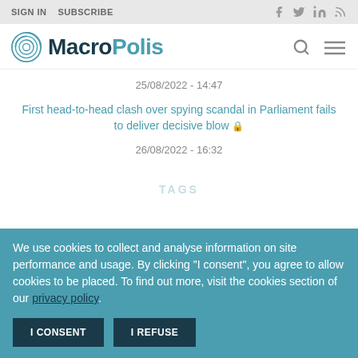SIGN IN  SUBSCRIBE
[Figure (logo): MacroPolis logo with circular labyrinth icon and text MacroPolis in dark and teal colors]
25/08/2022 - 14:47
First head-to-head clash over spying scandal in Parliament fails to deliver decisive blow 🔒
26/08/2022 - 16:32
TAGS
We use cookies to collect and analyse information on site performance and usage. By clicking "I consent", you agree to allow cookies to be placed. To find out more, visit the cookies section of our privacy policy.